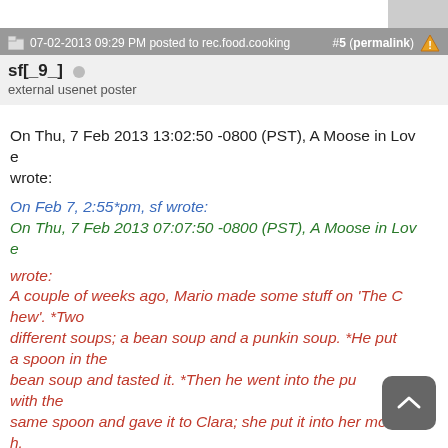07-02-2013 09:29 PM posted to rec.food.cooking  #5 (permalink)
sf[_9_]
external usenet poster
On Thu, 7 Feb 2013 13:02:50 -0800 (PST), A Moose in Love
wrote:
On Feb 7, 2:55*pm, sf wrote:
On Thu, 7 Feb 2013 07:07:50 -0800 (PST), A Moose in Love
e
wrote:
A couple of weeks ago, Mario made some stuff on 'The Chew'. *Two
different soups; a bean soup and a punkin soup. *He put a spoon in the
bean soup and tasted it. *Then he went into the punkin soup with the
same spoon and gave it to Clara; she put it into her mouth.
Yuch. *Stuff like this, it drivah me crazy.